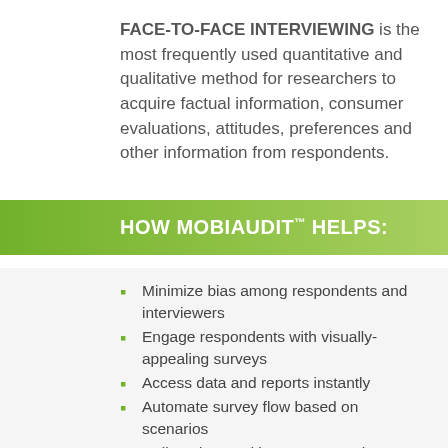FACE-TO-FACE INTERVIEWING is the most frequently used quantitative and qualitative method for researchers to acquire factual information, consumer evaluations, attitudes, preferences and other information from respondents.
HOW MOBIAUDIT™ HELPS:
Minimize bias among respondents and interviewers
Engage respondents with visually-appealing surveys
Access data and reports instantly
Automate survey flow based on scenarios
Collect data and images even when offline
Application integrated with the Shopmetrics™ reporting and